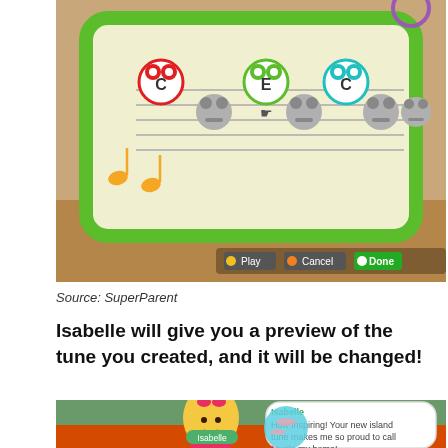[Figure (screenshot): Animal Crossing tune editor screen showing frog note icons with letters C, E, C on a green-bordered music staff with musical notes and Play/Cancel/Done buttons]
Source: SuperParent
Isabelle will give you a preview of the tune you created, and it will be changed!
[Figure (screenshot): Animal Crossing: New Horizons screenshot of Isabelle behind a desk with a speech bubble reading: 'How inspiring! Your new island tune makes me so proud to call Myrtle my home!' with Isabelle name tag in green and Myrtle in pink]